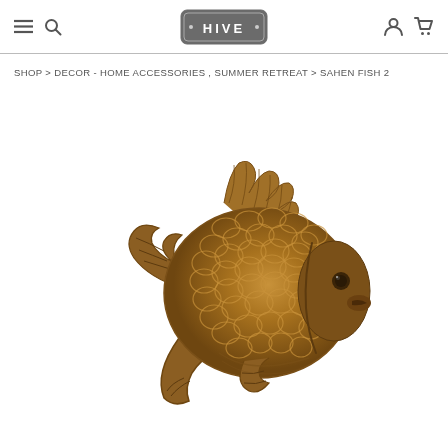HIVE (logo with hamburger menu, search, account, cart icons)
SHOP > DECOR - HOME ACCESSORIES , SUMMER RETREAT > SAHEN FISH 2
[Figure (photo): Bronze/gold colored decorative fish figurine sculpture with detailed scales, fins and tail, facing right, on white background]